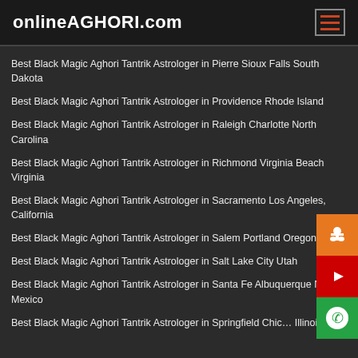onlineAGHORI.com
Best Black Magic Aghori Tantrik Astrologer in Pierre Sioux Falls South Dakota
Best Black Magic Aghori Tantrik Astrologer in Providence Rhode Island
Best Black Magic Aghori Tantrik Astrologer in Raleigh Charlotte North Carolina
Best Black Magic Aghori Tantrik Astrologer in Richmond Virginia Beach Virginia
Best Black Magic Aghori Tantrik Astrologer in Sacramento Los Angeles, California
Best Black Magic Aghori Tantrik Astrologer in Salem Portland Oregon
Best Black Magic Aghori Tantrik Astrologer in Salt Lake City Utah
Best Black Magic Aghori Tantrik Astrologer in Santa Fe Albuquerque New Mexico
Best Black Magic Aghori Tantrik Astrologer in Springfield Chicago Illinois